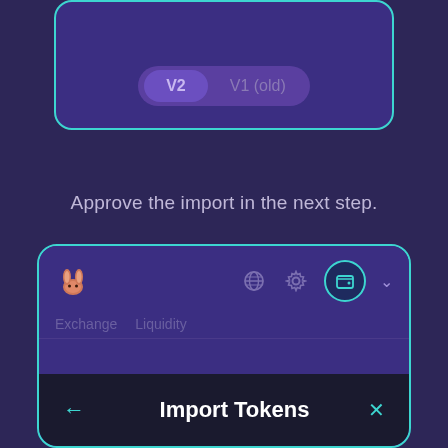[Figure (screenshot): Top card with V2 / V1 (old) toggle buttons on dark purple background with teal border]
Approve the import in the next step.
[Figure (screenshot): Bottom card showing PancakeSwap UI with bunny logo, globe icon, gear icon, wallet button, Exchange and Liquidity tabs, and Import Tokens modal bar at the bottom]